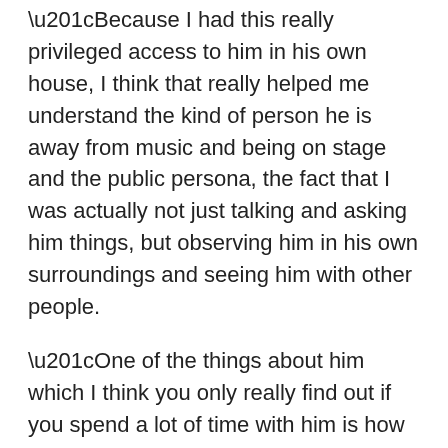“Because I had this really privileged access to him in his own house, I think that really helped me understand the kind of person he is away from music and being on stage and the public persona, the fact that I was actually not just talking and asking him things, but observing him in his own surroundings and seeing him with other people.
“One of the things about him which I think you only really find out if you spend a lot of time with him is how little he actually says. He’s a man of really few words. And he loves watching television. Even if there are three or four people in the room, which there normally was, we’d all be having a glass of wine and chatting, and he’d be watching TV.
“A lot of the time the conversation would be going on